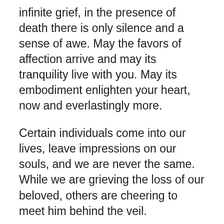infinite grief, in the presence of death there is only silence and a sense of awe. May the favors of affection arrive and may its tranquility live with you. May its embodiment enlighten your heart, now and everlastingly more.
Certain individuals come into our lives, leave impressions on our souls, and we are never the same. While we are grieving the loss of our beloved, others are cheering to meet him behind the veil.
An incredible soul serves everybody constantly but won't ever leave our hearts. It unites us over and over. We know for sure that we never lose our loved ones, even to death. Those because at his meeting place, at